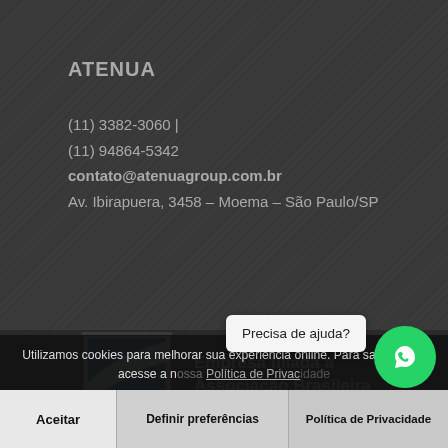ATENUA
(11) 3382-3060 |
(11) 94864-5342
contato@atenuagroup.com.br
Av. Ibirapuera, 3458 – Moema – São Paulo/SP
Conheça nossos representantes pelo Brasil
[Figure (logo): Stamp-style logo with DA initials and blue chevron design; text: Empresa filiada a Associação Brasileira]
Utilizamos cookies para melhorar sua experiência online. Para saber mais, acesse a nossa Política de Privacidade
Precisa de ajuda?
Aceitar
Definir preferências
Política de Privacidade